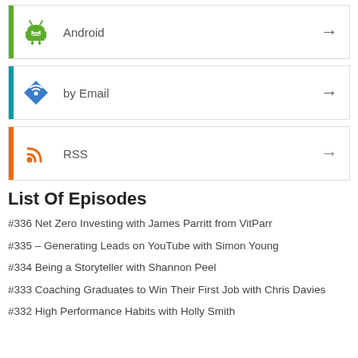Android
by Email
RSS
List Of Episodes
#336 Net Zero Investing with James Parritt from VitParr
#335 – Generating Leads on YouTube with Simon Young
#334 Being a Storyteller with Shannon Peel
#333 Coaching Graduates to Win Their First Job with Chris Davies
#332 High Performance Habits with Holly Smith